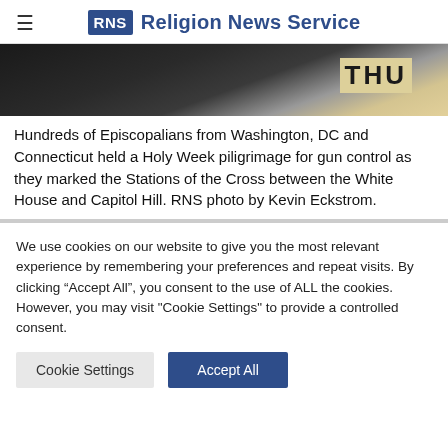RNS Religion News Service
[Figure (photo): Partial photo of Episcopalians on Holy Week pilgrimage, showing a sign with letters 'THU']
Hundreds of Episcopalians from Washington, DC and Connecticut held a Holy Week piligrimage for gun control as they marked the Stations of the Cross between the White House and Capitol Hill. RNS photo by Kevin Eckstrom.
We use cookies on our website to give you the most relevant experience by remembering your preferences and repeat visits. By clicking "Accept All", you consent to the use of ALL the cookies. However, you may visit "Cookie Settings" to provide a controlled consent.